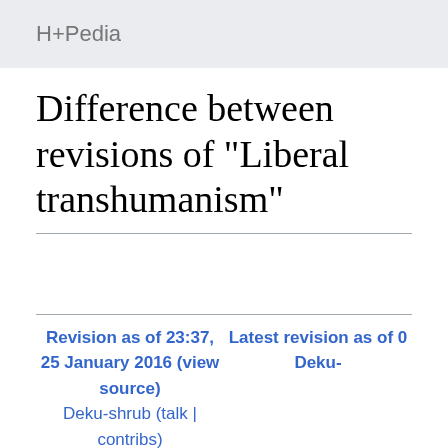H+Pedia
Difference between revisions of "Liberal transhumanism"
Revision as of 23:37, 25 January 2016 (view source)
Deku-shrub (talk | contribs)
← Older edit
Latest revision as of 0...
Deku-...
(5 intermediate revisions by the sam...
Line 1:
Line 1:
'''Liberal
transhumanism''' is the
'''Liberal transhu...
transhumanist posi...